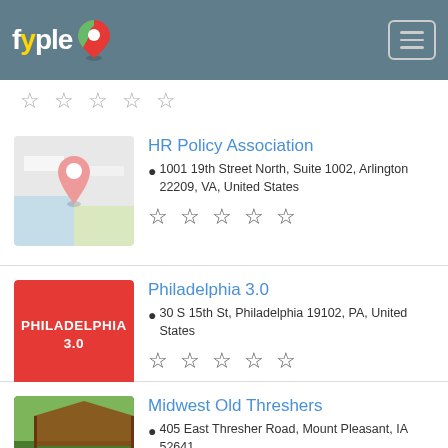fyple
[Figure (screenshot): Partially visible star rating row at top]
HR Policy Association
1001 19th Street North, Suite 1002, Arlington 22209, VA, United States
☆☆☆☆☆
Philadelphia 3.0
30 S 15th St, Philadelphia 19102, PA, United States
☆☆☆☆☆
Midwest Old Threshers
405 East Thresher Road, Mount Pleasant, IA 52641
☆☆☆☆☆